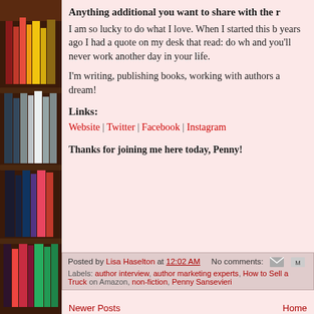[Figure (photo): Bookshelf with colorful book spines visible on the left side of the page]
Anything additional you want to share with the r
I am so lucky to do what I love. When I started this b years ago I had a quote on my desk that read: do wh and you'll never work another day in your life.
I'm writing, publishing books, working with authors a dream!
Links:
Website | Twitter | Facebook | Instagram
Thanks for joining me here today, Penny!
Posted by Lisa Haselton at 12:02 AM   No comments:   Labels: author interview, author marketing experts, How to Sell a Truck on Amazon, non-fiction, Penny Sansevieri
Newer Posts   Home